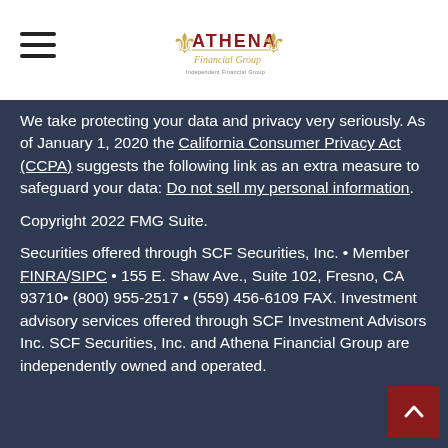Athena Financial Group
We take protecting your data and privacy very seriously. As of January 1, 2020 the California Consumer Privacy Act (CCPA) suggests the following link as an extra measure to safeguard your data: Do not sell my personal information.
Copyright 2022 FMG Suite.
Securities offered through SCF Securities, Inc. • Member FINRA/SIPC • 155 E. Shaw Ave., Suite 102, Fresno, CA 93710• (800) 955-2517 • (559) 456-6109 FAX. Investment advisory services offered through SCF Investment Advisors Inc. SCF Securities, Inc. and Athena Financial Group are independently owned and operated.